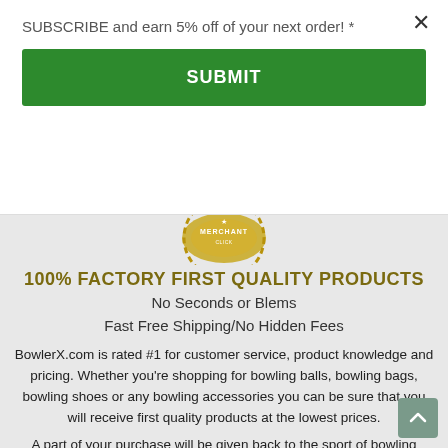SUBSCRIBE and earn 5% off of your next order! *
SUBMIT
[Figure (logo): Gold merchant badge/seal with text MERCHANT]
100% FACTORY FIRST QUALITY PRODUCTS
No Seconds or Blems
Fast Free Shipping/No Hidden Fees
BowlerX.com is rated #1 for customer service, product knowledge and pricing. Whether you're shopping for bowling balls, bowling bags, bowling shoes or any bowling accessories you can be sure that you will receive first quality products at the lowest prices.
A part of your purchase will be given back to the sport of bowling through our support of local, regional and national events across the United States. We thank you!